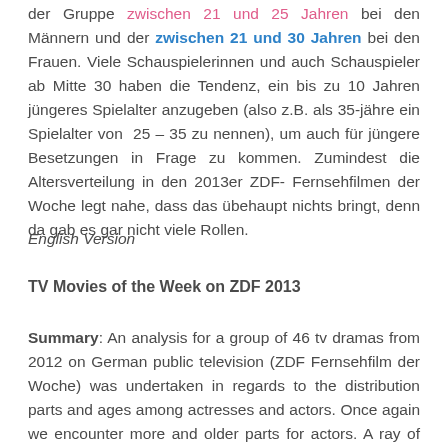der Gruppe zwischen 21 und 25 Jahren bei den Männern und der zwischen 21 und 30 Jahren bei den Frauen. Viele Schauspielerinnen und auch Schauspieler ab Mitte 30 haben die Tendenz, ein bis zu 10 Jahren jüngeres Spielalter anzugeben (also z.B. als 35-jähre ein Spielalter von 25 – 35 zu nennen), um auch für jüngere Besetzungen in Frage zu kommen. Zumindest die Altersverteilung in den 2013er ZDF-Fernsehfilmen der Woche legt nahe, dass das übehaupt nichts bringt, denn da gab es gar nicht viele Rollen.
English Version
TV Movies of the Week on ZDF 2013
Summary: An analysis for a group of 46 tv dramas from 2012 on German public television (ZDF Fernsehfilm der Woche) was undertaken in regards to the distribution parts and ages among actresses and actors. Once again we encounter more and older parts for actors. A ray of hope: